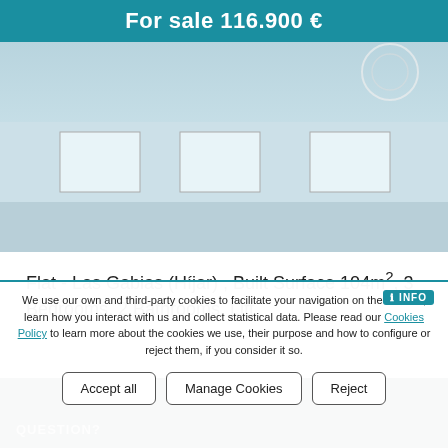For sale 116.900 €
[Figure (photo): Property listing photo for a flat in Las Gabias (Hijar)]
Flat - Las Gabias (Híjar) , Built Surface 104m², 3 Bedrooms, 2 Bathrooms, Lift.
We use our own and third-party cookies to facilitate your navigation on the website, learn how you interact with us and collect statistical data. Please read our Cookies Policy to learn more about the cookies we use, their purpose and how to configure or reject them, if you consider it so.
Accept all
Manage Cookies
Reject
QUESTION?